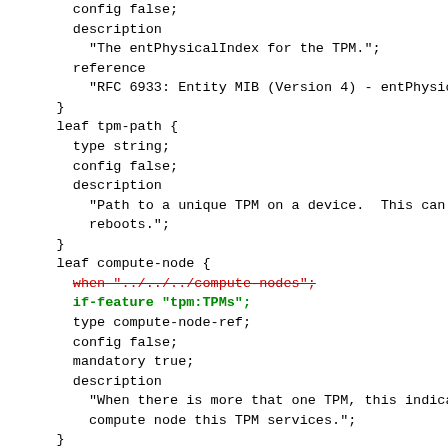YANG/NETCONF schema code fragment showing leaf definitions for TPM-related nodes including tpm-path, compute-node (with strikethrough and green annotations), and tpm-manufacturer.